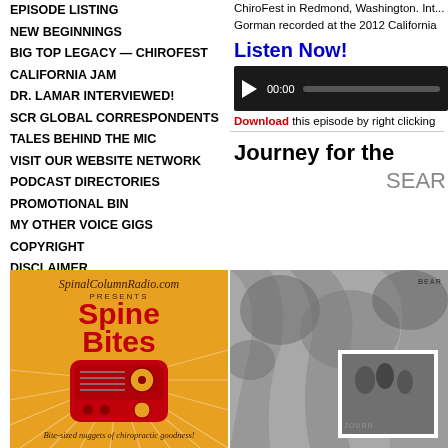EPISODE LISTING
NEW BEGINNINGS
BIG TOP LEGACY — CHIROFEST
CALIFORNIA JAM
DR. LAMAR INTERVIEWED!
SCR GLOBAL CORRESPONDENTS
TALES BEHIND THE MIC
VISIT OUR WEBSITE NETWORK
PODCAST DIRECTORIES
PROMOTIONAL BIN
MY OTHER VOICE GIGS
COPYRIGHT
DISCLAIMER
CHIRO-PICKER
BJ TV
BOX ON THE WALL
BALIMO
CHIRO-PICKER'S BOOK SHOPPE
ARCHIVE FEEDS
PRIVACY POLICY
[Figure (illustration): Spine Bites advertisement on orange background with retro radio graphic]
ChiroFest in Redmond, Washington. Int... Gorman recorded at the 2012 California
Listen Now!
00:00
Download this episode by right clicking
Journey for the
SEAR
[Figure (photo): Black and white photograph with trees and an overlapping smaller photo showing people, with text BEAR and JOURN visible]